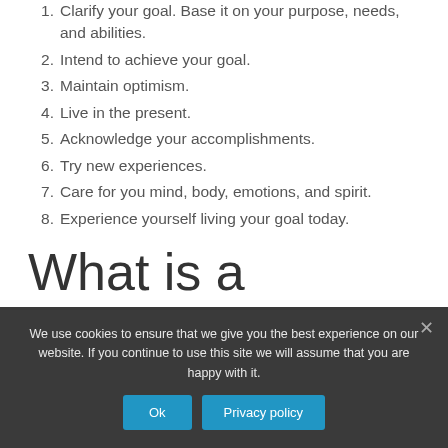1. Clarify your goal. Base it on your purpose, needs, and abilities.
2. Intend to achieve your goal.
3. Maintain optimism.
4. Live in the present.
5. Acknowledge your accomplishments.
6. Try new experiences.
7. Care for you mind, body, emotions, and spirit.
8. Experience yourself living your goal today.
What is a
We use cookies to ensure that we give you the best experience on our website. If you continue to use this site we will assume that you are happy with it.